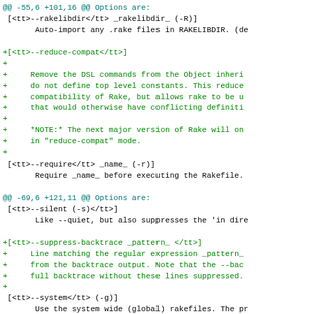[Figure (screenshot): A code diff/patch view showing changes to documentation of rake command-line options, with added lines in green prefixed with '+' and context lines in black, with hunk headers in blue/cyan.]